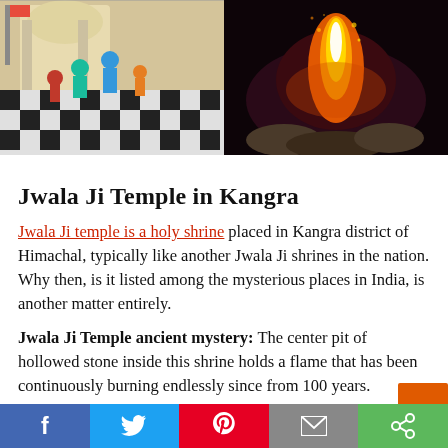[Figure (photo): Left: Temple entrance with checkered floor, people in colorful attire visiting a white marble temple with arches. Right: Close-up of a bright flame burning on rocks in a dark setting.]
Jwala Ji Temple in Kangra
Jwala Ji temple is a holy shrine placed in Kangra district of Himachal, typically like another Jwala Ji shrines in the nation. Why then, is it listed among the mysterious places in India, is another matter entirely.
Jwala Ji Temple ancient mystery: The center pit of hollowed stone inside this shrine holds a flame that has been continuously burning endlessly since from 100 years.
f  [Twitter]  [Pinterest]  [Email]  [Share]